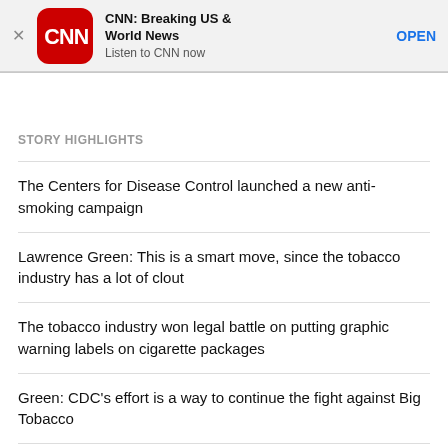[Figure (screenshot): CNN app advertisement banner with red CNN logo, title 'CNN: Breaking US & World News', subtitle 'Listen to CNN now', and OPEN button]
STORY HIGHLIGHTS
The Centers for Disease Control launched a new anti-smoking campaign
Lawrence Green: This is a smart move, since the tobacco industry has a lot of clout
The tobacco industry won legal battle on putting graphic warning labels on cigarette packages
Green: CDC's effort is a way to continue the fight against Big Tobacco